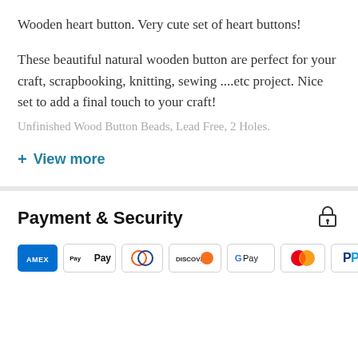Wooden heart button. Very cute set of heart buttons!
These beautiful natural wooden button are perfect for your craft, scrapbooking, knitting, sewing ....etc project. Nice set to add a final touch to your craft! Unfinished Wood Button Beads, Lead Free, 2 Holes.
+ View more
Payment & Security
[Figure (other): Payment method icons: American Express, Apple Pay, Diners Club, Discover, Google Pay, Mastercard, PayPal. English language selector.]